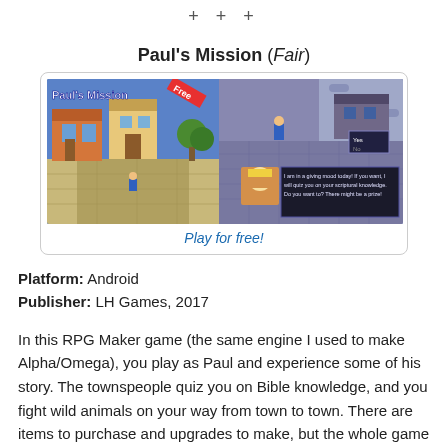+ + +
Paul's Mission (Fair)
[Figure (screenshot): Screenshot of Paul's Mission RPG game showing two panels: left panel with top-down RPG town view with 'Paul's Mission' text and 'Free' badge, right panel showing dungeon/combat scene with dialogue box. Below image is a 'Play for free!' link.]
Platform: Android
Publisher: LH Games, 2017
In this RPG Maker game (the same engine I used to make Alpha/Omega), you play as Paul and experience some of his story. The townspeople quiz you on Bible knowledge, and you fight wild animals on your way from town to town. There are items to purchase and upgrades to make, but the whole game is rather simple and uses a lot of the default settings of the game engine. It didn't keep my interest for very long.